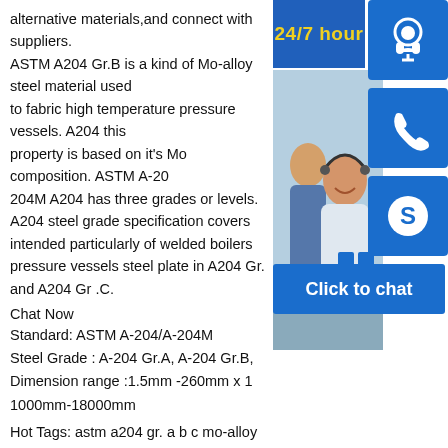alternative materials,and connect with suppliers. ASTM A204 Gr.B is a kind of Mo-alloy steel material used to fabric high temperature pressure vessels. A204 this property is based on it's Mo composition. ASTM A-204/A-204M A204 has three grades or levels. A204 steel grade specification covers intended particularly of welded boilers pressure vessels steel plate in A204 Gr. and A204 Gr .C.
Chat Now
Standard: ASTM A-204/A-204M
Steel Grade : A-204 Gr.A, A-204 Gr.B,
Dimension range :1.5mm -260mm x 1000mm-18000mm
Hot Tags: astm a204 gr. a b c mo-alloy pressure vessel steel plate, China, factory, suppliers, manufacturers, price, bulk, in stock, chemical composition, hot sale, free sample
[Figure (photo): Customer service representatives at call center with headsets, overlaid with 24/7 hour banner and blue icon buttons for headset, phone, and Skype, plus a 'Click to chat' button.]
A 204 gr.B Chemical composition,A 204 gr.B bsa 204